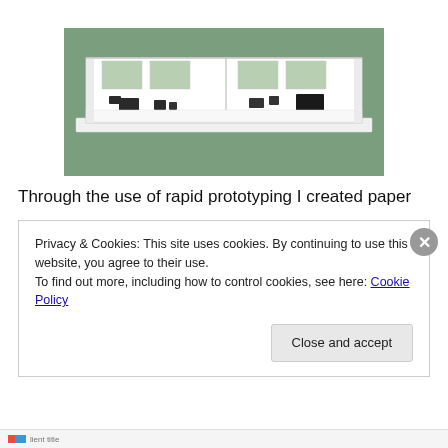[Figure (photo): A white architectural scale model of a building, showing a rectangular structure with transparent/green roof panels and dark rectangular pieces inside representing furniture or fixtures, placed on a white base on a green surface.]
Through the use of rapid prototyping I created paper
Privacy & Cookies: This site uses cookies. By continuing to use this website, you agree to their use.
To find out more, including how to control cookies, see here: Cookie Policy
Close and accept